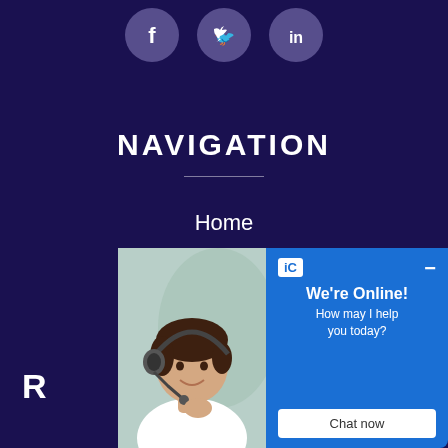[Figure (illustration): Three social media icons (Facebook, Twitter, LinkedIn) as circular buttons with light purple/lavender background on dark navy background]
NAVIGATION
Home
Latest Articles
Submit Articles
About
R
[Figure (screenshot): Live chat widget overlay showing a woman with headset (customer support) and a blue chat panel with 'iC' logo, 'We're Online! How may I help you today?' text, and a 'Chat now' button]